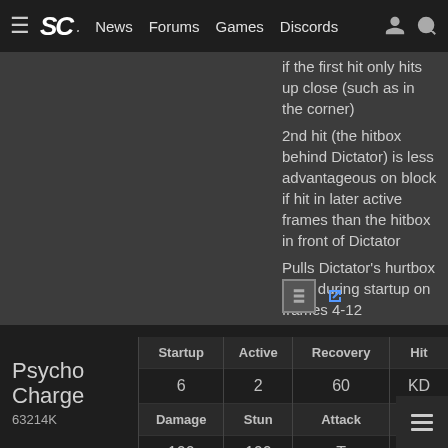SC. News  Forums  Games  Discords
if the first hit only hits up close (such as in the corner)
2nd hit (the hitbox behind Dictator) is less advantageous on block if hit in later active frames than the hitbox in front of Dictator
Pulls Dictator's hurtbox back during startup on frames 4-12
KDA shown is if Psycho Crusher hits on its first active frame (KDA varies depending on how late into the active frames Psycho Crusher hits and if it hits with the in-front / behind hitbox)
Spends 1500 V-Timer (50% V-Timer)
|  | Startup | Active | Recovery | Hit |
| --- | --- | --- | --- | --- |
| Psycho Charge | 6 | 2 | 60 | KD |
| 63214K | Damage | Stun | Attack | B |
|  | 100 | 100 | T |  |